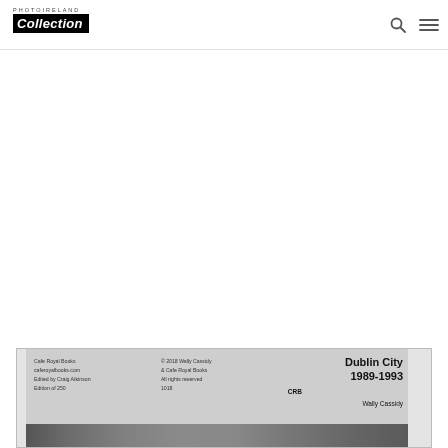PHOTOIRELAND Collection
[Figure (photo): Book back cover showing Dublin City 1989-1993 by Wally Cassidy, published by Cafe Royal Books, edited by Craig Atkinson, Edition of 250. Copyright 2018 Wally Cassidy & Cafe Royal Books. Includes CRB logo and a street photo strip at the bottom.]